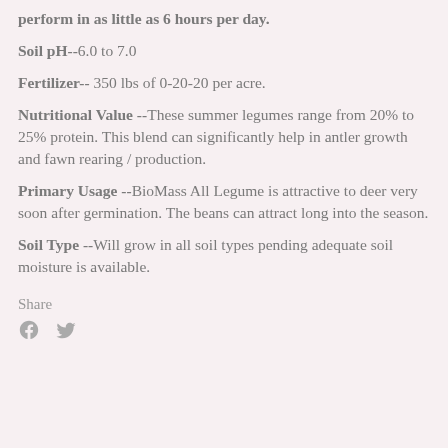perform in as little as 6 hours per day.
Soil pH-- 6.0 to 7.0
Fertilizer-- 350 lbs of 0-20-20 per acre.
Nutritional Value --These summer legumes range from 20% to 25% protein. This blend can significantly help in antler growth and fawn rearing / production.
Primary Usage --BioMass All Legume is attractive to deer very soon after germination. The beans can attract long into the season.
Soil Type --Will grow in all soil types pending adequate soil moisture is available.
Share